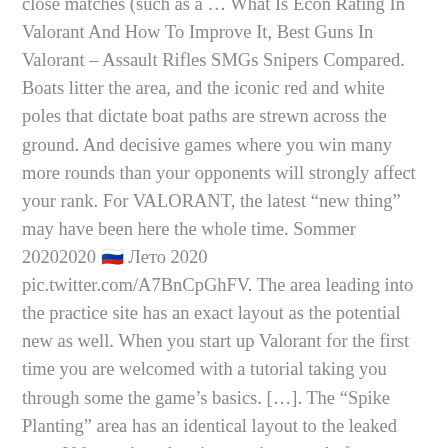close matches (such as a … What Is Econ Rating In Valorant And How To Improve It, Best Guns In Valorant – Assault Rifles SMGs Snipers Compared. Boats litter the area, and the iconic red and white poles that dictate boat paths are strewn across the ground. And decisive games where you win many more rounds than your opponents will strongly affect your rank. For VALORANT, the latest “new thing” may have been here the whole time. Sommer 20202020 🇷🇺 Лето 2020 pic.twitter.com/A7BnCpGhFV. The area leading into the practice site has an exact layout as the potential new as well. When you start up Valorant for the first time you are welcomed with a tutorial taking you through some the game’s basics. […]. The “Spike Planting” area has an identical layout to the leaked map. Valorant is a chaotic experience and often you won’t find enough time to practice with